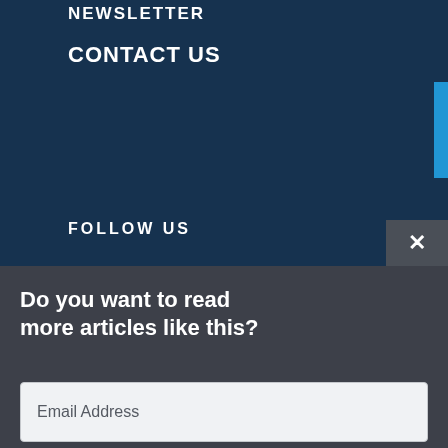NEWSLETTER
CONTACT US
FOLLOW US
Do you want to read more articles like this?
Email Address
SUBSCRIBE